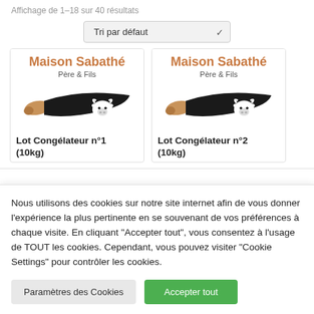Affichage de 1–18 sur 40 résultats
Tri par défaut
[Figure (logo): Maison Sabathé Père & Fils logo with knife and bull silhouette - product card 1 for Lot Congélateur n°1 (10kg)]
Lot Congélateur n°1 (10kg)
[Figure (logo): Maison Sabathé Père & Fils logo with knife and bull silhouette - product card 2 for Lot Congélateur n°2 (10kg)]
Lot Congélateur n°2 (10kg)
Nous utilisons des cookies sur notre site internet afin de vous donner l'expérience la plus pertinente en se souvenant de vos préférences à chaque visite. En cliquant "Accepter tout", vous consentez à l'usage de TOUT les cookies. Cependant, vous pouvez visiter "Cookie Settings" pour contrôler les cookies.
Paramètres des Cookies
Accepter tout